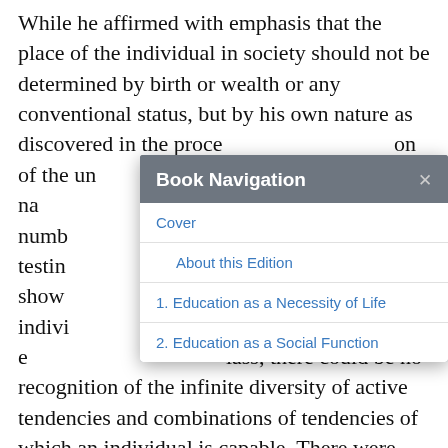While he affirmed with emphasis that the place of the individual in society should not be determined by birth or wealth or any conventional status, but by his own nature as discovered in the process of education, and the recognition of the unique tendencies of each individual — they fall by nature into certain groups, and all of some number — the testing of innate capacities — only shows each individual — recognition that each class, there could be no recognition of the infinite diversity of active tendencies and combinations of tendencies of which an individual is capable. There were only three types of faculties or
[Figure (screenshot): A modal dialog titled 'Book Navigation' with a close (×) button. The body contains navigation links: 'Cover', 'About this Edition', '1. Education as a Necessity of Life', '2. Education as a Social Function'.]